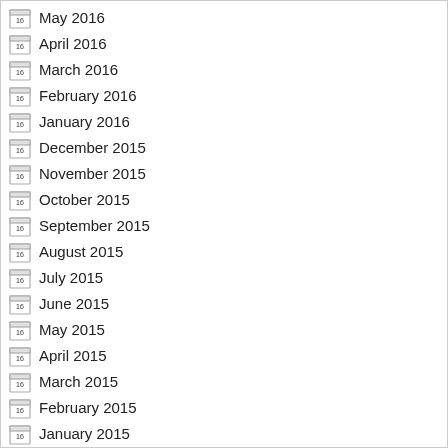May 2016
April 2016
March 2016
February 2016
January 2016
December 2015
November 2015
October 2015
September 2015
August 2015
July 2015
June 2015
May 2015
April 2015
March 2015
February 2015
January 2015
December 2014
November 2014
October 2014